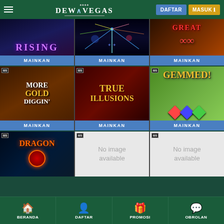DewaVegas - DAFTAR - MASUK
[Figure (screenshot): Casino game grid showing: Row 1: RISING slot, fireworks slot, GREAT 88 slot. Row 2: MORE GOLD DIGGIN slot, TRUE ILLUSIONS slot, GEMMED! slot. Row 3: DRAGON slot, No image available, No image available. Each has a MAINKAN button. Navigation bar at bottom: BERANDA, DAFTAR, PROMOSI, OBROLAN.]
BERANDA  DAFTAR  PROMOSI  OBROLAN